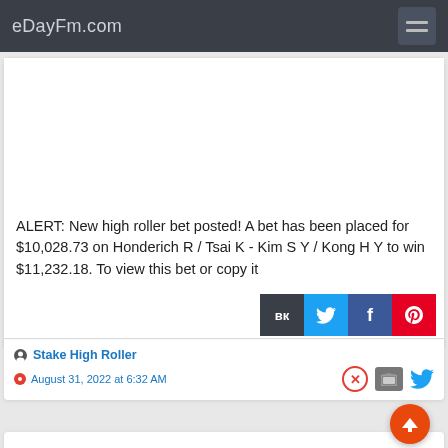eDayFm.com
ALERT: New high roller bet posted! A bet has been placed for $10,028.73 on Honderich R / Tsai K - Kim S Y / Kong H Y to win $11,232.18. To view this bet or copy it
Stake High Roller
August 31, 2022 at 6:32 AM